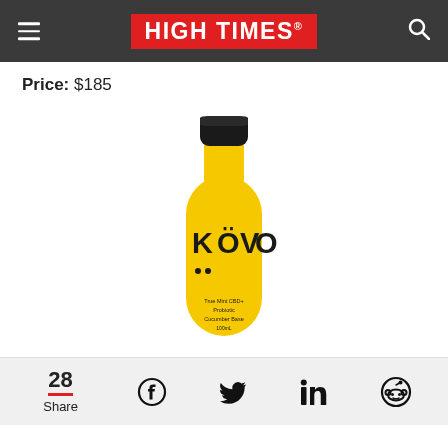HIGH TIMES
Price: $185
[Figure (photo): Yellow KÖVO branded bottle with black cap. Label reads 'KÖVO' in large letters and smaller text below. Product appears to be a skincare or CBD topical in a yellow glass bottle.]
28 Share